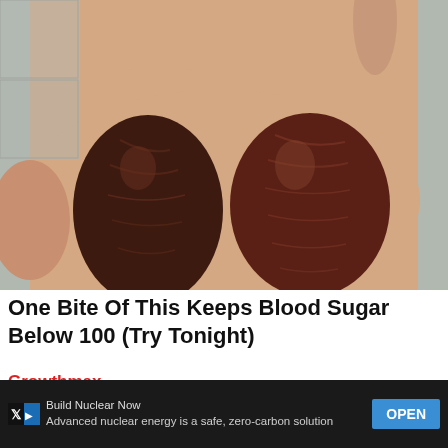[Figure (photo): A hand holding two large dark brown dried dates (medjool dates), close-up photograph.]
One Bite Of This Keeps Blood Sugar Below 100 (Try Tonight)
Growthmax
[Figure (photo): Partial image of a second advertisement/content card showing a shoe and striped item, partially visible.]
Build Nuclear Now
Advanced nuclear energy is a safe, zero-carbon solution